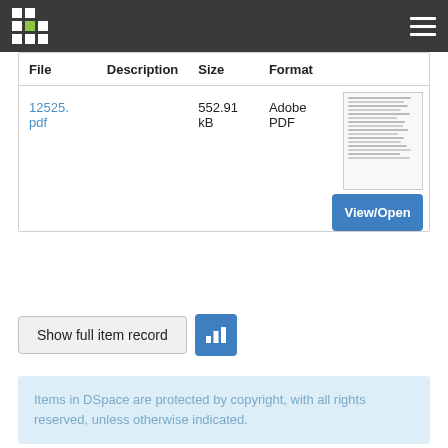DSpace navigation header with logo and hamburger menu
| File | Description | Size | Format |  |
| --- | --- | --- | --- | --- |
| 12525.pdf |  | 552.91 kB | Adobe PDF | View/Open |
Show full item record
Items in DSpace are protected by copyright, with all rights reserved, unless otherwise indicated.